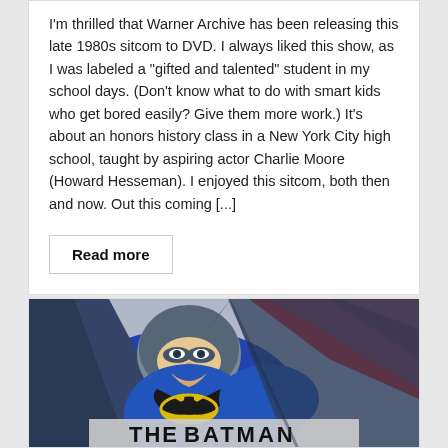I'm thrilled that Warner Archive has been releasing this late 1980s sitcom to DVD. I always liked this show, as I was labeled a "gifted and talented" student in my school days. (Don't know what to do with smart kids who get bored easily? Give them more work.) It's about an honors history class in a New York City high school, taught by aspiring actor Charlie Moore (Howard Hesseman). I enjoyed this sitcom, both then and now. Out this coming [...]
Read more
[Figure (illustration): Batman animated cartoon illustration showing Batman in blue costume with yellow bat symbol, red background, partial text reading 'THE BATMAN' at bottom]